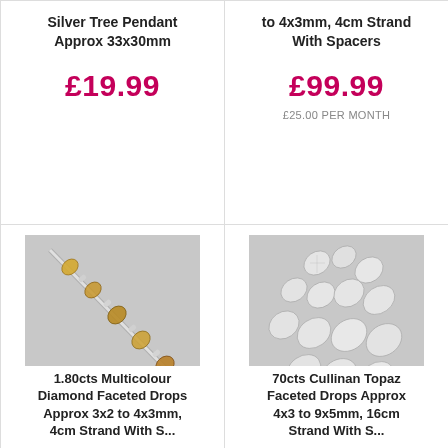Silver Tree Pendant Approx 33x30mm
£19.99
to 4x3mm, 4cm Strand With Spacers
£99.99
£25.00 PER MONTH
[Figure (photo): 1.80cts Multicolour Diamond Faceted Drops on a strand, diagonal composition, yellow and brown gemstone drops on silver wire]
1.80cts Multicolour Diamond Faceted Drops Approx 3x2 to 4x3mm, 4cm Strand With S...
[Figure (photo): 70cts Cullinan Topaz Faceted Drops arranged diagonally, clear/white teardrop shaped gemstones on strand]
70cts Cullinan Topaz Faceted Drops Approx 4x3 to 9x5mm, 16cm Strand With S...